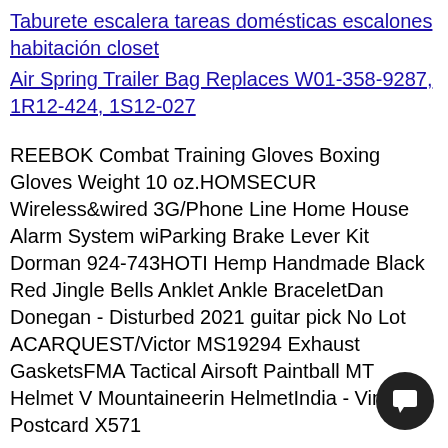Taburete escalera tareas domésticas escalones habitación closet
Air Spring Trailer Bag Replaces W01-358-9287, 1R12-424, 1S12-027
REEBOK Combat Training Gloves Boxing Gloves Weight 10 oz.HOMSECUR Wireless&wired 3G/Phone Line Home House Alarm System wiParking Brake Lever Kit Dorman 924-743HOTI Hemp Handmade Black Red Jingle Bells Anklet Ankle BraceletDan Donegan - Disturbed 2021 guitar pick No Lot ACARQUEST/Victor MS19294 Exhaust GasketsFMA Tactical Airsoft Paintball MT Helmet V Mountaineerin HelmetIndia - Vintage Postcard X571
Gorilla Wear Mitchell Training Gloves – Black Training Gloves
Hikvision 16 Ch CCTV Security Camera System Bullet KIT TVI HD 10
Brigade Electronics - Waterproof Camera VBV-701C
HOTI Hemp Handmade Lime Green Silver Hot Pi… Jingle Bells Ankle
DURAN DURAN ARENA BOOK OF MUSIC 1984
CARQUEST/Victor F17991 Exhaust Gaskets